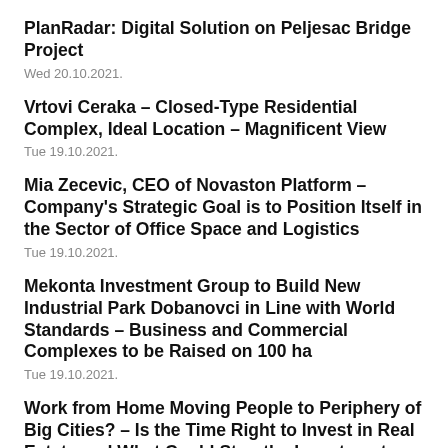PlanRadar: Digital Solution on Peljesac Bridge Project
Wed 20.10.2021.
Vrtovi Ceraka – Closed-Type Residential Complex, Ideal Location – Magnificent View
Tue 19.10.2021.
Mia Zecevic, CEO of Novaston Platform – Company's Strategic Goal is to Position Itself in the Sector of Office Space and Logistics
Tue 19.10.2021.
Mekonta Investment Group to Build New Industrial Park Dobanovci in Line with World Standards – Business and Commercial Complexes to be Raised on 100 ha
Tue 19.10.2021.
Work from Home Moving People to Periphery of Big Cities? – Is the Time Right to Invest in Real Estate and What Could Stop the Investment Cycle?